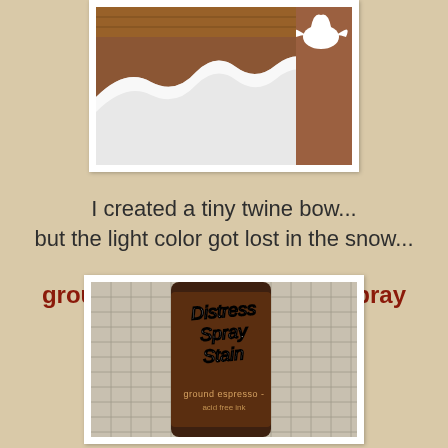[Figure (photo): Photo of a craft project showing white snow texture on a brown wooden surface with a small white decorative bird or angel cutout]
I created a tiny twine bow...
but the light color got lost in the snow...
ground espresso distress spray stain to the rescue...
[Figure (photo): Close-up photo of a Distress Spray Stain product bottle labeled 'ground espresso']